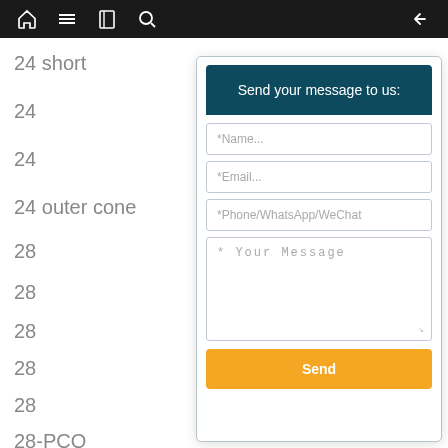Navigation bar with home, menu, book, search, and back icons
24 short
35
24
24
24 outer cone
28
28
28
28
28
28-PCO
28 Inner cone
28 Inner cone
28
28
[Figure (screenshot): Contact form modal with dark teal header 'Send your message to us:', fields for Name, Email, Phone/WhatsApp/WeChat, Your Message textarea, and a yellow Send button]